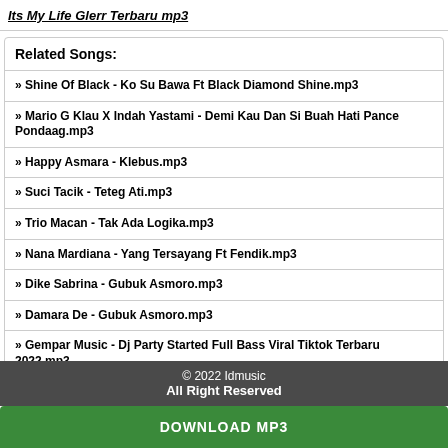Its My Life Glerr Terbaru mp3
Related Songs:
» Shine Of Black - Ko Su Bawa Ft Black Diamond Shine.mp3
» Mario G Klau X Indah Yastami - Demi Kau Dan Si Buah Hati Pance Pondaag.mp3
» Happy Asmara - Klebus.mp3
» Suci Tacik - Teteg Ati.mp3
» Trio Macan - Tak Ada Logika.mp3
» Nana Mardiana - Yang Tersayang Ft Fendik.mp3
» Dike Sabrina - Gubuk Asmoro.mp3
» Damara De - Gubuk Asmoro.mp3
» Gempar Music - Dj Party Started Full Bass Viral Tiktok Terbaru 2022.mp3
» Dj Didit - Dj Jawa Bojo Loro Tiktok Viral Full Bass Terbaru 2022.mp3
© 2022 Idmusic
All Right Reserved
DOWNLOAD MP3